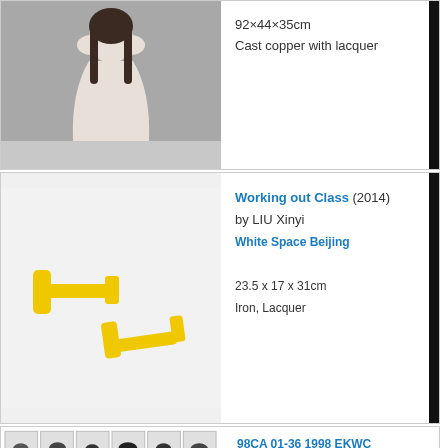[Figure (photo): A sculpture of a human figure with hands raised to face, cast copper with lacquer, grey background]
92×44×35cm
Cast copper with lacquer
[Figure (photo): Yellow dumbbell-shaped iron sculptures with lacquer finish on white background]
Working out Class (2014)
by LIU Xinyi
White Space Beijing
23.5 x 17 x 31cm
Iron, Lacquer
[Figure (photo): Grid of small black and white images showing scattered dark fragments or objects]
98CA 01-36 1998 EKWC (1998)
by SHEN Fan
ShanghART Gallery Beijing